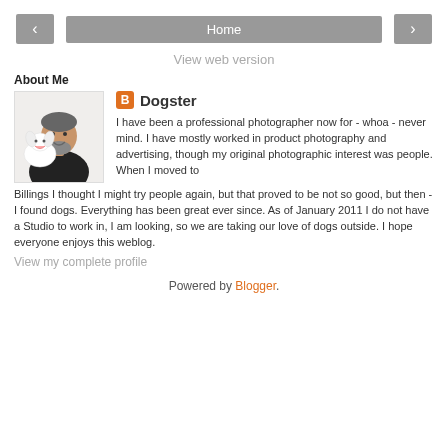< Home >
View web version
About Me
[Figure (photo): Profile photo of a middle-aged man with a beard holding a fluffy white dog]
Dogster

I have been a professional photographer now for - whoa - never mind. I have mostly worked in product photography and advertising, though my original photographic interest was people. When I moved to Billings I thought I might try people again, but that proved to be not so good, but then - I found dogs. Everything has been great ever since. As of January 2011 I do not have a Studio to work in, I am looking, so we are taking our love of dogs outside. I hope everyone enjoys this weblog.
View my complete profile
Powered by Blogger.